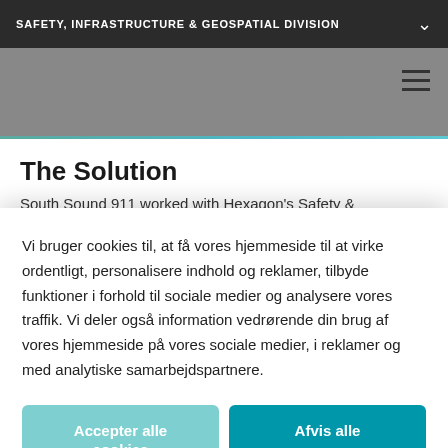SAFETY, INFRASTRUCTURE & GEOSPATIAL DIVISION
The Solution
South Sound 911 worked with Hexagon's Safety & Infrastructure division to implement a new regional computer-aided dispatch (CAD) system configured to
Vi bruger cookies til, at få vores hjemmeside til at virke ordentligt, personalisere indhold og reklamer, tilbyde funktioner i forhold til sociale medier og analysere vores traffik. Vi deler også information vedrørende din brug af vores hjemmeside på vores sociale medier, i reklamer og med analytiske samarbejdspartnere.
Accepter alle cookies
Afvis alle